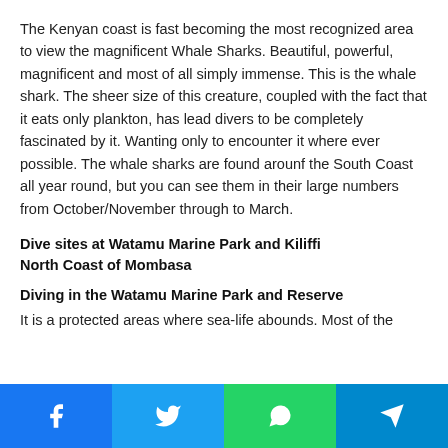The Kenyan coast is fast becoming the most recognized area to view the magnificent Whale Sharks. Beautiful, powerful, magnificent and most of all simply immense. This is the whale shark. The sheer size of this creature, coupled with the fact that it eats only plankton, has lead divers to be completely fascinated by it. Wanting only to encounter it where ever possible. The whale sharks are found arounf the South Coast all year round, but you can see them in their large numbers from October/November through to March.
Dive sites at Watamu Marine Park and Kiliffi
North Coast of Mombasa
Diving in the Watamu Marine Park and Reserve
It is a protected areas where sea-life abounds. Most of the
Social share bar: Facebook, Twitter, WhatsApp, Telegram